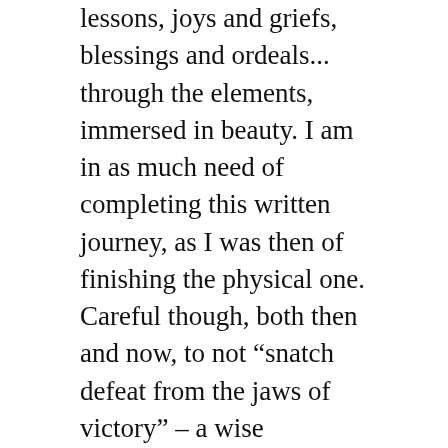lessons, joys and griefs, blessings and ordeals... through the elements, immersed in beauty. I am in as much need of completing this written journey, as I was then of finishing the physical one. Careful though, both then and now, to not “snatch defeat from the jaws of victory” – a wise instruction received many years ago from a wise woman – describing our human propensity for distraction and derailment from realizing our intentions. I did then and will here continue, complete, and arrive.
From my journal:  “Our decision to leave at 7 am without breakfast was a wise one given how hot it became by noon. Many did the same as the Way was crowded. Again a lovely route thru hamlets, forests, with several cafes along